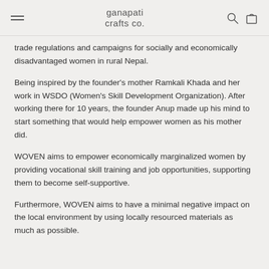ganapati crafts co.
trade regulations and campaigns for socially and economically disadvantaged women in rural Nepal.
Being inspired by the founder's mother Ramkali Khada and her work in WSDO (Women's Skill Development Organization). After working there for 10 years, the founder Anup made up his mind to start something that would help empower women as his mother did.
WOVEN aims to empower economically marginalized women by providing vocational skill training and job opportunities, supporting them to become self-supportive.
Furthermore, WOVEN aims to have a minimal negative impact on the local environment by using locally resourced materials as much as possible.